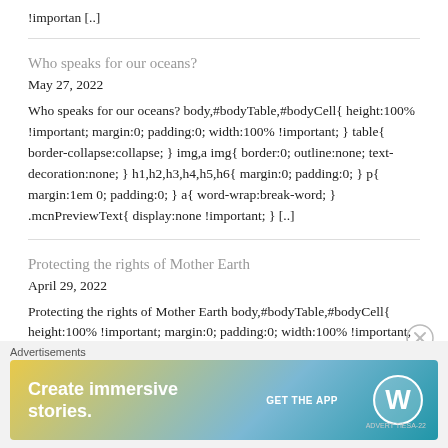!importan [..]
Who speaks for our oceans?
May 27, 2022
Who speaks for our oceans? body,#bodyTable,#bodyCell{ height:100% !important; margin:0; padding:0; width:100% !important; } table{ border-collapse:collapse; } img,a img{ border:0; outline:none; text-decoration:none; } h1,h2,h3,h4,h5,h6{ margin:0; padding:0; } p{ margin:1em 0; padding:0; } a{ word-wrap:break-word; } .mcnPreviewText{ display:none !important; } [..]
Protecting the rights of Mother Earth
April 29, 2022
Protecting the rights of Mother Earth body,#bodyTable,#bodyCell{ height:100% !important; margin:0; padding:0; width:100% !important; } table{
[Figure (infographic): WordPress advertisement banner: 'Create immersive stories. GET THE APP' with WordPress logo on gradient background (yellow to teal).]